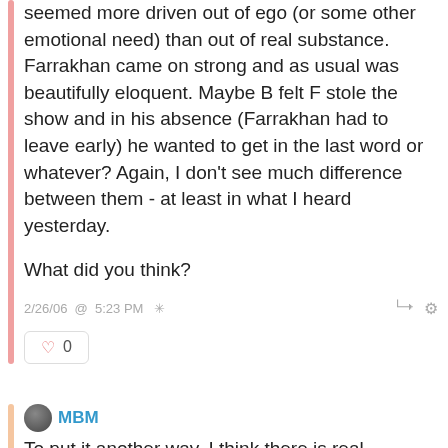seemed more driven out of ego (or some other emotional need) than out of real substance. Farrakhan came on strong and as usual was beautifully eloquent. Maybe B felt F stole the show and in his absence (Farrakhan had to leave early) he wanted to get in the last word or whatever? Again, I don't see much difference between them - at least in what I heard yesterday.

What did you think?
2/26/06 @ 5:23 PM
♥ 0
MBM
To put it another way, I think there is real INconsistency between Belafonte talking about